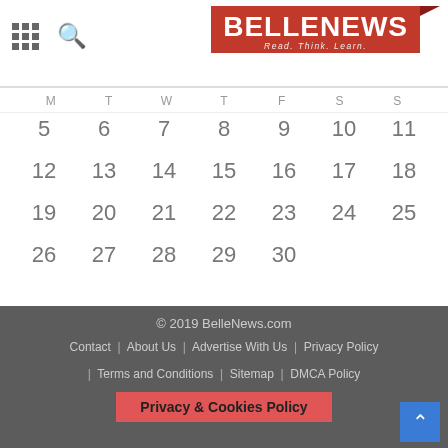BELLENEWS — Read. Think. Learn.
| M | T | W | T | F | S | S |
| --- | --- | --- | --- | --- | --- | --- |
|  |  |  | 1 | 2 | 3 | 4 |
| 5 | 6 | 7 | 8 | 9 | 10 | 11 |
| 12 | 13 | 14 | 15 | 16 | 17 | 18 |
| 19 | 20 | 21 | 22 | 23 | 24 | 25 |
| 26 | 27 | 28 | 29 | 30 |  |  |
« Aug
© 2019 BelleNews.com | Contact | About Us | Advertise With Us | Privacy Policy | Terms and Conditions | Sitemap | DMCA Policy | Privacy & Cookies Policy